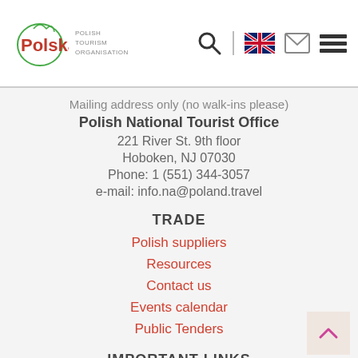Polish Tourism Organisation
Mailing address only (no walk-ins please)
Polish National Tourist Office
221 River St. 9th floor
Hoboken, NJ 07030
Phone: 1 (551) 344-3057
e-mail: info.na@poland.travel
TRADE
Polish suppliers
Resources
Contact us
Events calendar
Public Tenders
IMPORTANT LINKS